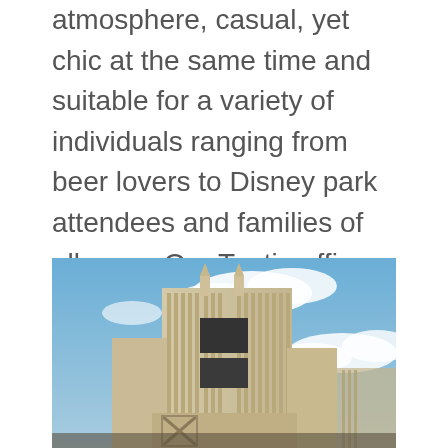atmosphere, casual, yet chic at the same time and suitable for a variety of individuals ranging from beer lovers to Disney park attendees and families of all ages. Our Tustin office always enjoys working with Disney and the opportunity to bring their fresh concepts to reality.
[Figure (photo): Upward-angle photograph of an Art Deco style building facade with cream/beige colored stone detailing, vertical ribbed columns, and dark windows, set against a bright blue sky with white clouds.]